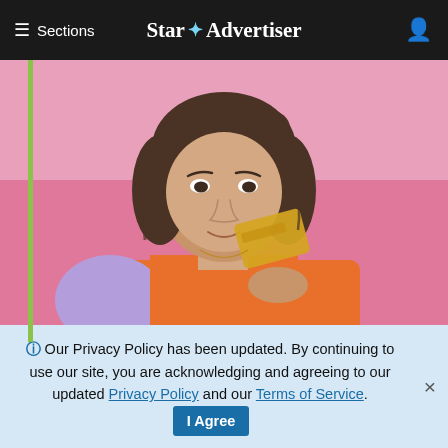≡ Sections   Star ✶ Advertiser
[Figure (photo): Young woman with brown bangs holding a gold credit card up near her face, smiling, against a bright pink background. She is wearing an orange top.]
Hands Down The Top Credit Card of...
Here's how you can get an easy $200 when you spend $500.
ℹ Our Privacy Policy has been updated. By continuing to use our site, you are acknowledging and agreeing to our updated Privacy Policy and our Terms of Service. I Agree